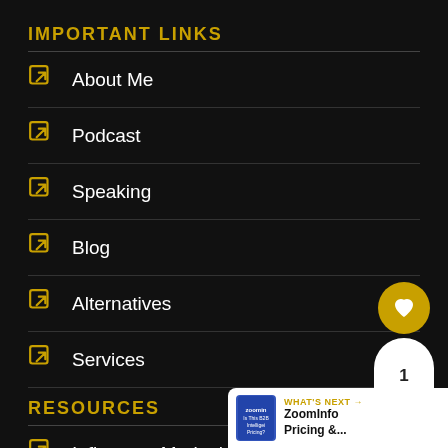IMPORTANT LINKS
About Me
Podcast
Speaking
Blog
Alternatives
Services
RESOURCES
Influencer Marketing Directory
Ebooks
Resource Links
[Figure (infographic): Floating heart like button (gold circle with white heart icon) and share bubble showing count '1' with share icon]
WHAT'S NEXT → ZoomInfo Pricing &...